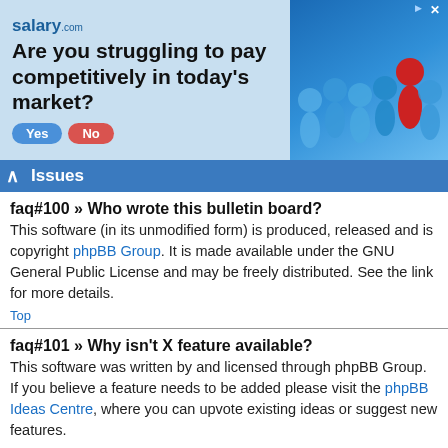[Figure (illustration): Salary.com advertisement banner asking 'Are you struggling to pay competitively in today's market?' with Yes/No buttons and decorative blue background with figures]
Issues
faq#100 » Who wrote this bulletin board?
This software (in its unmodified form) is produced, released and is copyright phpBB Group. It is made available under the GNU General Public License and may be freely distributed. See the link for more details.
Top
faq#101 » Why isn't X feature available?
This software was written by and licensed through phpBB Group. If you believe a feature needs to be added please visit the phpBB Ideas Centre, where you can upvote existing ideas or suggest new features.
Top
faq#102 » Who do I contact about abusive and/or legal matters related to this board?
Any of the administrators listed on the “The team” page should be an appropriate point of contact for your complaints. If this still gets no response then you should contact the owner of the domain (do a